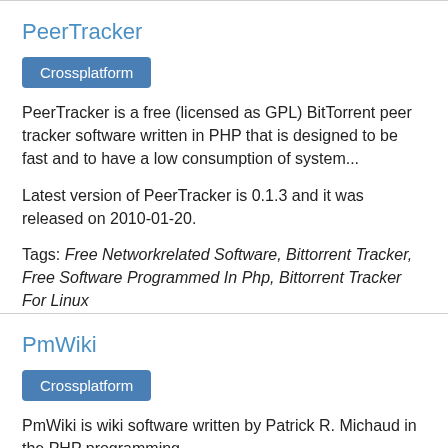PeerTracker
Crossplatform
PeerTracker is a free (licensed as GPL) BitTorrent peer tracker software written in PHP that is designed to be fast and to have a low consumption of system...
Latest version of PeerTracker is 0.1.3 and it was released on 2010-01-20.
Tags: Free Networkrelated Software, Bittorrent Tracker, Free Software Programmed In Php, Bittorrent Tracker For Linux
PmWiki
Crossplatform
PmWiki is wiki software written by Patrick R. Michaud in the PHP programming